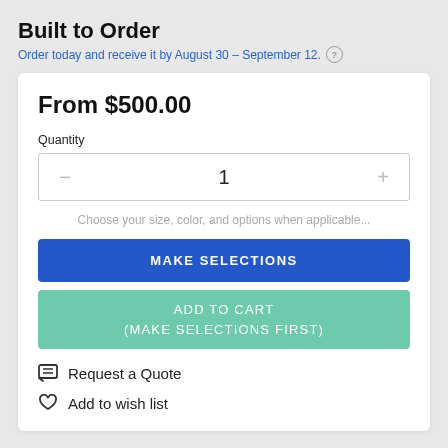Built to Order
Order today and receive it by August 30 – September 12.
From $500.00
Quantity
1
Choose your size, color, and options when applicable...
MAKE SELECTIONS
ADD TO CART
(MAKE SELECTIONS FIRST)
Request a Quote
Add to wish list